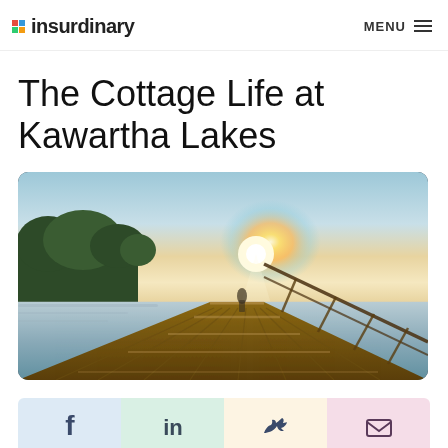Insurdinary   MENU
The Cottage Life at Kawartha Lakes
[Figure (photo): A wooden dock/pier extending toward a bright sunset over a calm lake, with trees on the left shoreline and wooden railing on the right of the pier. Warm golden light glows from the horizon.]
[Figure (infographic): Social sharing bar with four buttons: Facebook (blue background, f icon), LinkedIn (green background, in icon), Twitter (yellow/cream background, bird icon), Email (pink background, envelope icon)]